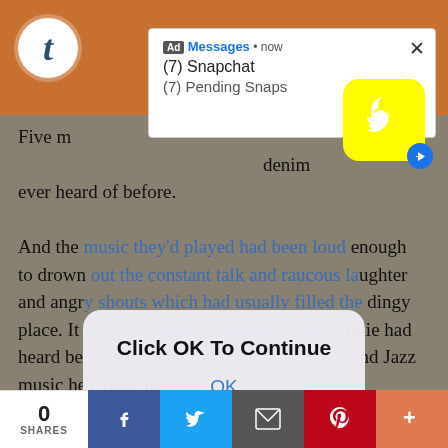[Figure (screenshot): Orange header bar with Tumblr icon]
[Figure (screenshot): Snapchat ad notification popup showing '(7) Snapchat' and '(7) Pending Snaps' with Snapchat logo]
Five m... s and denim... ever heard of before.
And the music they'd played had been loud enough to drown out the constant talk and raucous laughter and angry shouts which had usually filled the dingy place. It had been different than anything Eddie had heard before, so different from the Country and Jazz music he'd been used to.
[Figure (screenshot): OK dialog popup with 'Click OK To Continue' and an OK button]
Better. So much better.
Something about it had went straight into his soul, t
0 SHARES | Facebook | Twitter | Email | Pinterest | More